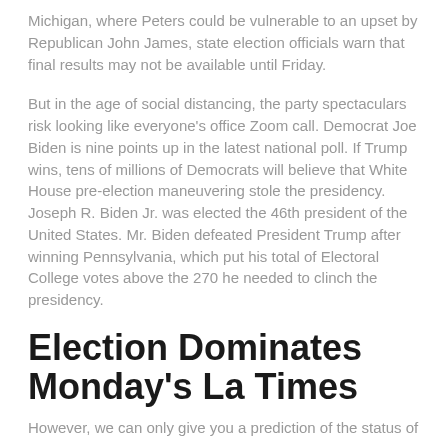Michigan, where Peters could be vulnerable to an upset by Republican John James, state election officials warn that final results may not be available until Friday.
But in the age of social distancing, the party spectaculars risk looking like everyone's office Zoom call. Democrat Joe Biden is nine points up in the latest national poll. If Trump wins, tens of millions of Democrats will believe that White House pre-election maneuvering stole the presidency. Joseph R. Biden Jr. was elected the 46th president of the United States. Mr. Biden defeated President Trump after winning Pennsylvania, which put his total of Electoral College votes above the 270 he needed to clinch the presidency.
Election Dominates Monday's La Times
However, we can only give you a prediction of the status of